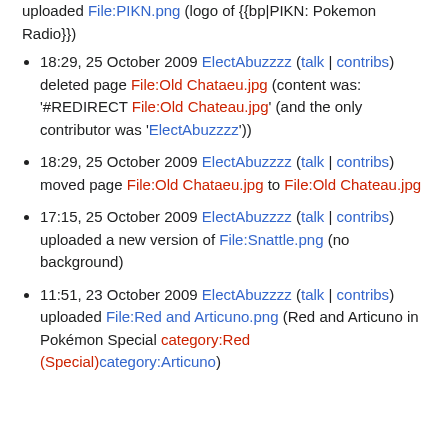uploaded File:PIKN.png (logo of {{bp|PIKN: Pokemon Radio}})
18:29, 25 October 2009 ElectAbuzzzz (talk | contribs) deleted page File:Old Chataeu.jpg (content was: '#REDIRECT File:Old Chateau.jpg' (and the only contributor was 'ElectAbuzzzz'))
18:29, 25 October 2009 ElectAbuzzzz (talk | contribs) moved page File:Old Chataeu.jpg to File:Old Chateau.jpg
17:15, 25 October 2009 ElectAbuzzzz (talk | contribs) uploaded a new version of File:Snattle.png (no background)
11:51, 23 October 2009 ElectAbuzzzz (talk | contribs) uploaded File:Red and Articuno.png (Red and Articuno in Pokémon Special category:Red (Special)category:Articuno)